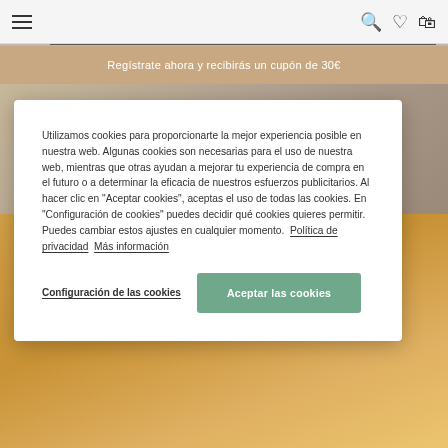Navigation bar with hamburger menu, search, wishlist, and cart icons
Regístrate ahora y recibirás un cupón de 30€
[Figure (screenshot): E-commerce website background with decorative food/fruit photograph]
Utilizamos cookies para proporcionarte la mejor experiencia posible en nuestra web. Algunas cookies son necesarias para el uso de nuestra web, mientras que otras ayudan a mejorar tu experiencia de compra en el futuro o a determinar la eficacia de nuestros esfuerzos publicitarios. Al hacer clic en "Aceptar cookies", aceptas el uso de todas las cookies. En "Configuración de cookies" puedes decidir qué cookies quieres permitir. Puedes cambiar estos ajustes en cualquier momento. Política de privacidad  Más información
Configuración de las cookies
Aceptar las cookies